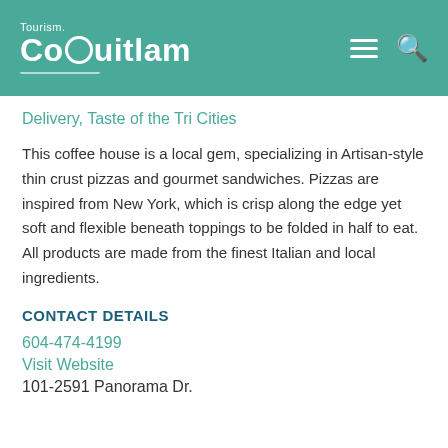Tourism Coquitlam
Delivery, Taste of the Tri Cities
This coffee house is a local gem, specializing in Artisan-style thin crust pizzas and gourmet sandwiches. Pizzas are inspired from New York, which is crisp along the edge yet soft and flexible beneath toppings to be folded in half to eat. All products are made from the finest Italian and local ingredients.
CONTACT DETAILS
604-474-4199
Visit Website
101-2591 Panorama Dr.